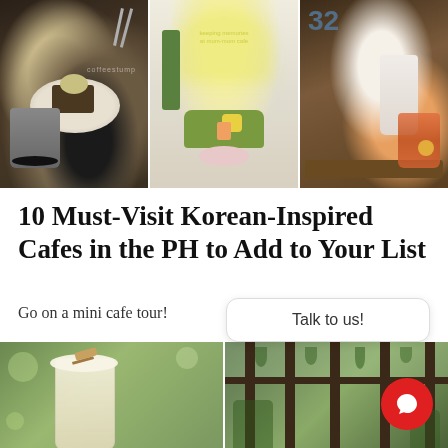[Figure (photo): Three cafe photos side by side: left shows black jelly drink and dessert on wooden table, center shows cafe interior with green sofa and neon sign, right shows two drinks on wooden tray with number 32 visible]
10 Must-Visit Korean-Inspired Cafes in the PH to Add to Your List
Go on a mini cafe tour!
Talk to us!
[Figure (photo): Bottom row of two cafe photos: left shows a creamy frothy drink among green foliage, right shows a glass-walled cafe interior surrounded by lush plants with dark wood pillars]